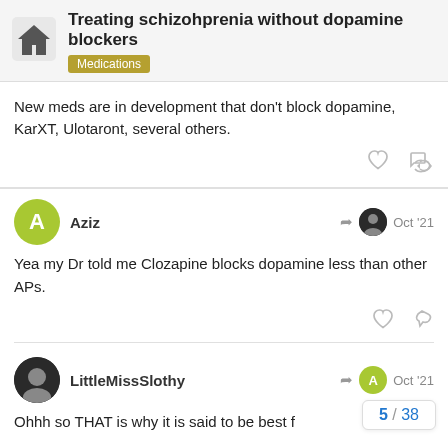Treating schizohprenia without dopamine blockers — Medications
New meds are in development that don't block dopamine, KarXT, Ulotaront, several others.
Aziz — Oct '21
Yea my Dr told me Clozapine blocks dopamine less than other APs.
LittleMissSlothy — Oct '21
Ohhh so THAT is why it is said to be best f
5 / 38